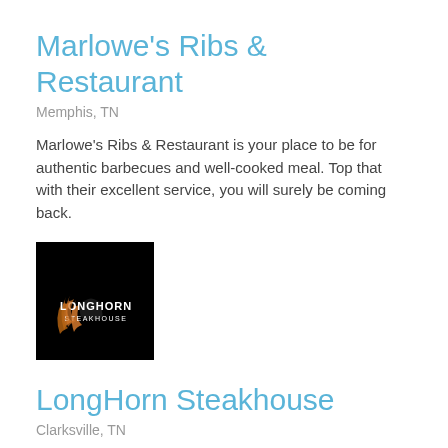Marlowe's Ribs & Restaurant
Memphis, TN
Marlowe's Ribs & Restaurant is your place to be for authentic barbecues and well-cooked meal. Top that with their excellent service, you will surely be coming back.
[Figure (logo): LongHorn Steakhouse logo on black background with flame imagery]
LongHorn Steakhouse
Clarksville, TN